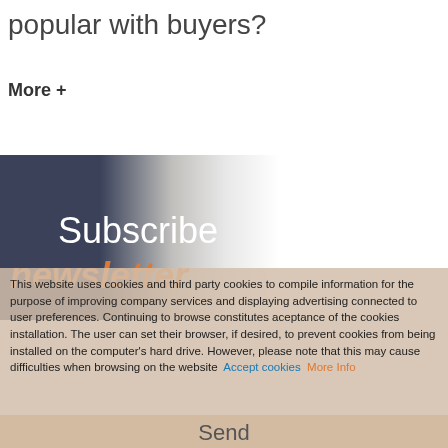popular with buyers?
More +
[Figure (illustration): Dark navy and grey gradient banner with 'Subscribe' text in white and 'newsletter' text in orange italic]
This website uses cookies and third party cookies to compile information for the purpose of improving company services and displaying advertising connected to user preferences. Continuing to browse constitutes aceptance of the cookies installation. The user can set their browser, if desired, to prevent cookies from being installed on the computer's hard drive. However, please note that this may cause difficulties when browsing on the website  Accept cookies   More Info
Send